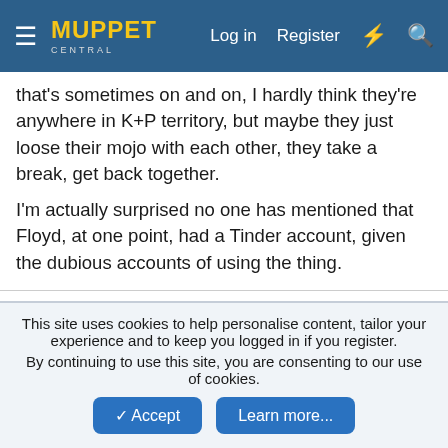Muppet Central — Log in | Register
that's sometimes on and on, I hardly think they're anywhere in K+P territory, but maybe they just loose their mojo with each other, they take a break, get back together.

I'm actually surprised no one has mentioned that Floyd, at one point, had a Tinder account, given the dubious accounts of using the thing.
CensoredAlso
Well-Known Member
Nov 5, 2015  #128
This site uses cookies to help personalise content, tailor your experience and to keep you logged in if you register.
By continuing to use this site, you are consenting to our use of cookies.